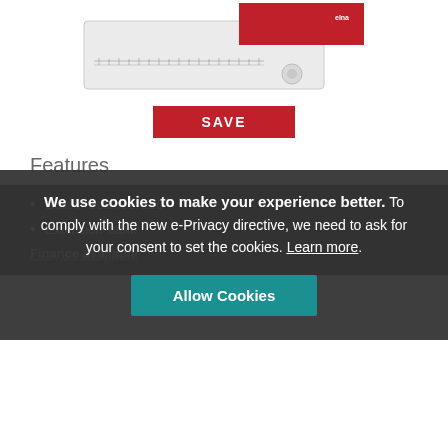[Figure (photo): Partial view of a sewing machine (Elna brand) shown from above, white body with red accent and ruler markings]
SAVE
Features
Built in Stitches: 120
Extension Table
Finance available
We use cookies to make your experience better. To comply with the new e-Privacy directive, we need to ask for your consent to set the cookies. Learn more.
Allow Cookies
£949.00  £858.00
Low Price Guarantee
Free Delivery